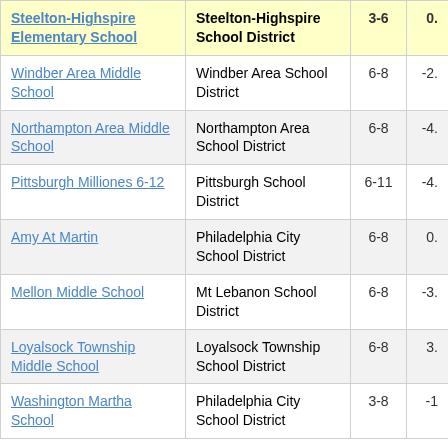| School | District | Grades | Value |
| --- | --- | --- | --- |
| Steelton-Highspire Elementary School | Steelton-Highspire School District | 3-6 | 0. |
| Windber Area Middle School | Windber Area School District | 6-8 | -2. |
| Northampton Area Middle School | Northampton Area School District | 6-8 | -4. |
| Pittsburgh Milliones 6-12 | Pittsburgh School District | 6-11 | -4. |
| Amy At Martin | Philadelphia City School District | 6-8 | 0. |
| Mellon Middle School | Mt Lebanon School District | 6-8 | -3. |
| Loyalsock Township Middle School | Loyalsock Township School District | 6-8 | 3. |
| Washington Martha School | Philadelphia City School District | 3-8 | -1 |